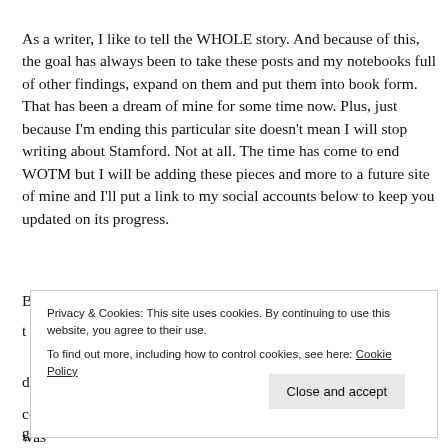As a writer, I like to tell the WHOLE story. And because of this, the goal has always been to take these posts and my notebooks full of other findings, expand on them and put them into book form. That has been a dream of mine for some time now. Plus, just because I'm ending this particular site doesn't mean I will stop writing about Stamford. Not at all. The time has come to end WOTM but I will be adding these pieces and more to a future site of mine and I'll put a link to my social accounts below to keep you updated on its progress.
Privacy & Cookies: This site uses cookies. By continuing to use this website, you agree to their use. To find out more, including how to control cookies, see here: Cookie Policy
community for story ideas, feedback, etc, the support I received was